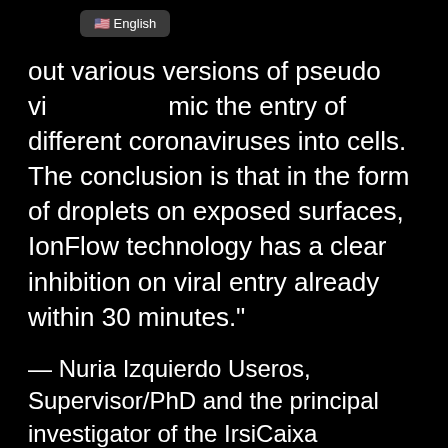"...out various versions of pseudo viruses that mimic the entry of different coronaviruses into cells. The conclusion is that in the form of droplets on exposed surfaces, IonFlow technology has a clear inhibition on viral entry already within 30 minutes."
— Nuria Izquierdo Useros, Supervisor/PhD and the principal investigator of the IrsiCaixa
We're battling COVID-19, in the air and on the ground.
Scientific tests shows that LightAir IonFlow air...